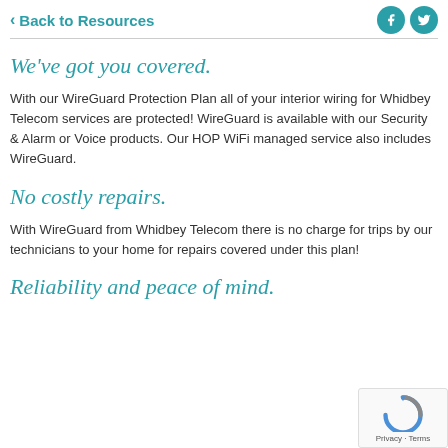< Back to Resources
We've got you covered.
With our WireGuard Protection Plan all of your interior wiring for Whidbey Telecom services are protected! WireGuard is available with our Security & Alarm or Voice products. Our HOP WiFi managed service also includes WireGuard.
No costly repairs.
With WireGuard from Whidbey Telecom there is no charge for trips by our technicians to your home for repairs covered under this plan!
Reliability and peace of mind.